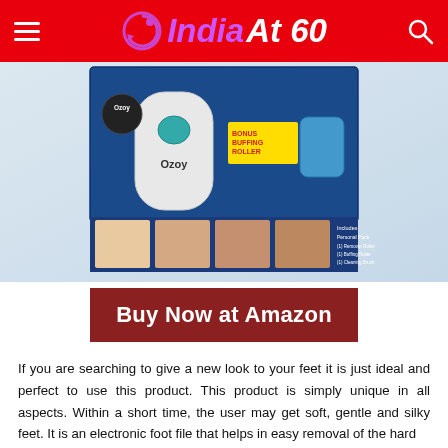India At 60
[Figure (photo): Product photo of Ozoy electronic foot file/callus remover in retail packaging. Box shows the device, bonus buffing roller, before/after images of feet, and includes personal pack with remover roller, buffing roller, and cleaning brush.]
[Figure (other): Buy Now at Amazon button in dark red/maroon background with white bold text]
If you are searching to give a new look to your feet it is just ideal and perfect to use this product. This product is simply unique in all aspects. Within a short time, the user may get soft, gentle and silky feet. It is an electronic foot file that helps in easy removal of the hard